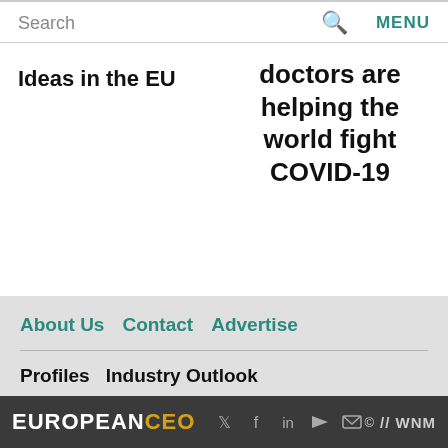Search  MENU
Ideas in the EU
doctors are helping the world fight COVID-19
About Us  Contact  Advertise
Profiles   Industry Outlook
Management   Finance   World View
Lifestyle   Videos   Awards
EUROPEANCEO  © //WNM